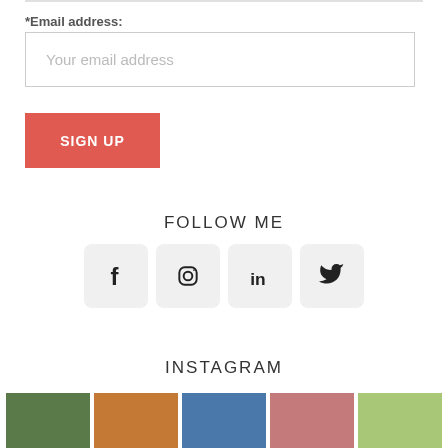*Email address:
Your email address
SIGN UP
FOLLOW ME
[Figure (infographic): Four social media icons in rounded square boxes: Facebook (f), Instagram (camera), LinkedIn (in), Twitter (bird)]
INSTAGRAM
[Figure (photo): Five Instagram thumbnail photos partially visible at bottom of page]